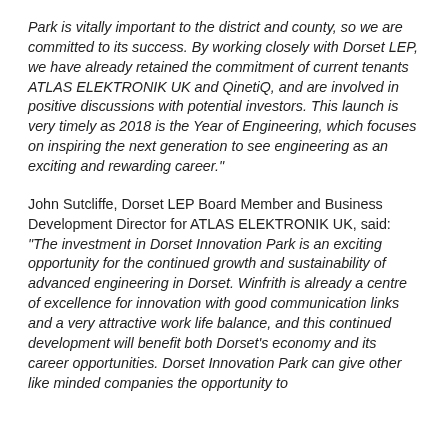Park is vitally important to the district and county, so we are committed to its success. By working closely with Dorset LEP, we have already retained the commitment of current tenants ATLAS ELEKTRONIK UK and QinetiQ, and are involved in positive discussions with potential investors. This launch is very timely as 2018 is the Year of Engineering, which focuses on inspiring the next generation to see engineering as an exciting and rewarding career."
John Sutcliffe, Dorset LEP Board Member and Business Development Director for ATLAS ELEKTRONIK UK, said: "The investment in Dorset Innovation Park is an exciting opportunity for the continued growth and sustainability of advanced engineering in Dorset. Winfrith is already a centre of excellence for innovation with good communication links and a very attractive work life balance, and this continued development will benefit both Dorset's economy and its career opportunities. Dorset Innovation Park can give other like minded companies the opportunity to